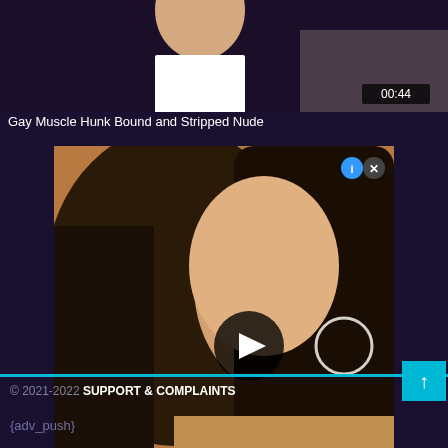[Figure (screenshot): Top portion of a video thumbnail showing partial view of a person, with a timer overlay showing 00:44]
Gay Muscle Hunk Bound and Stripped Nude
[Figure (screenshot): Ad popup overlay showing a close-up photo of a woman with dark hair and hoop earrings, with a play button overlay and control buttons in top right]
© 2021-2022 SUPPORT & COMPLAINTS
{adv_push}